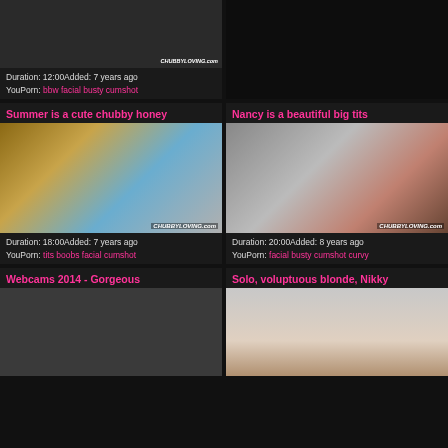[Figure (photo): Top left video thumbnail - person on couch, dark background]
Duration: 12:00Added: 7 years ago
YouPorn: bbw facial busty cumshot
Summer is a cute chubby honey
[Figure (photo): Kitchen scene - woman in red dress at kitchen counter, CHUBBYLOVING.com watermark]
Duration: 18:00Added: 7 years ago
YouPorn: tits boobs facial cumshot
Nancy is a beautiful big tits
[Figure (photo): Bedroom scene - two people on bed, CHUBBYLOVING.com watermark]
Duration: 20:00Added: 8 years ago
YouPorn: facial busty cumshot curvy
Webcams 2014 - Gorgeous
Solo, voluptuous blonde, Nikky
[Figure (photo): Bottom left thumbnail - partially visible]
[Figure (photo): Bottom right thumbnail - blonde woman]